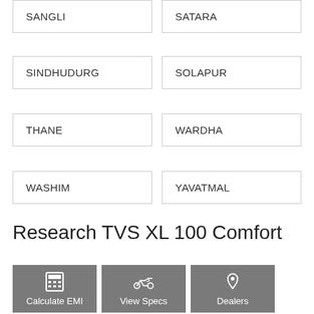SANGLI
SATARA
SINDHUDURG
SOLAPUR
THANE
WARDHA
WASHIM
YAVATMAL
Research TVS XL 100 Comfort
[Figure (infographic): Three grey buttons: Calculate EMI (calculator icon), View Specs (motorcycle icon), Dealers (location pin icon)]